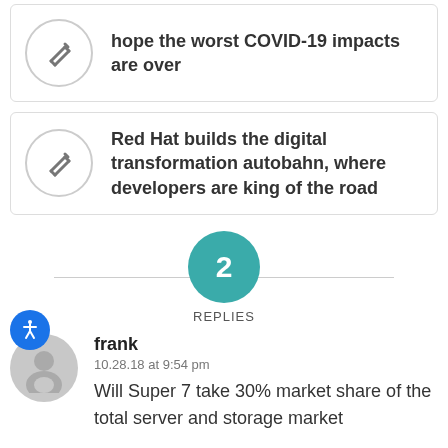hope the worst COVID-19 impacts are over
Red Hat builds the digital transformation autobahn, where developers are king of the road
2 REPLIES
frank
10.28.18 at 9:54 pm
Will Super 7 take 30% market share of the total server and storage market